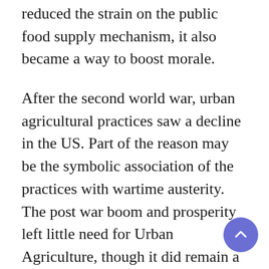reduced the strain on the public food supply mechanism, it also became a way to boost morale.
After the second world war, urban agricultural practices saw a decline in the US. Part of the reason may be the symbolic association of the practices with wartime austerity. The post war boom and prosperity left little need for Urban Agriculture, though it did remain a necessity in the developing world.
Until very recently, there has been little change in the attitude towards Urban Agricultural practices, and consequently it has not been given much policy attention. But now with the constant overlap between realms of people, cities, ecology and the